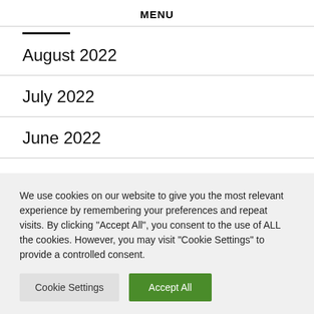MENU
August 2022
July 2022
June 2022
We use cookies on our website to give you the most relevant experience by remembering your preferences and repeat visits. By clicking "Accept All", you consent to the use of ALL the cookies. However, you may visit "Cookie Settings" to provide a controlled consent.
Cookie Settings | Accept All